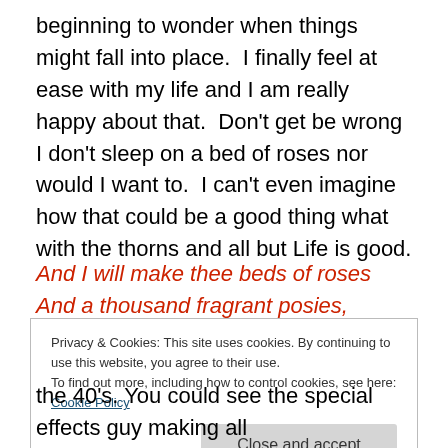beginning to wonder when things might fall into place.  I finally feel at ease with my life and I am really happy about that.  Don't get be wrong I don't sleep on a bed of roses nor would I want to.  I can't even imagine how that could be a good thing what with the thorns and all but Life is good.
And I will make thee beds of roses
And a thousand fragrant posies,
A cap of flowers, and a kirtle
Embroidered all with leaves of myrtle
Privacy & Cookies: This site uses cookies. By continuing to use this website, you agree to their use.
To find out more, including how to control cookies, see here: Cookie Policy
Close and accept
the 40's. You could see the special effects guy making all